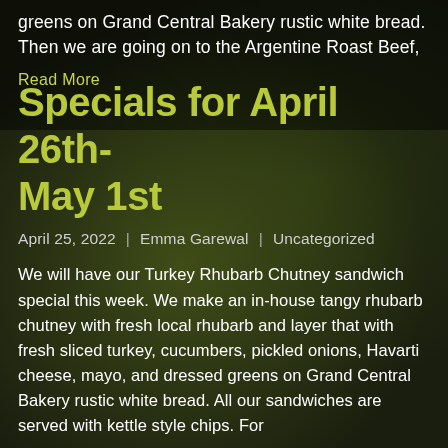greens on Grand Central Bakery rustic white bread. Then we are going on to the Argentine Roast Beef,
Read More
[Figure (photo): Dark background photo of a lush garden with green foliage, a wooden pergola/trellis structure, and a house exterior. The image has dark olive/forest green tones with the photo serving as a background for the article card.]
Specials for April 26th-May 1st
April 25, 2022   |   Emma Garewal   |   Uncategorized
We will have our Turkey Rhubarb Chutney sandwich special this week. We make an in-house tangy rhubarb chutney with fresh local rhubarb and layer that with fresh sliced turkey, cucumbers, pickled onions, Havarti cheese, mayo, and dressed greens on Grand Central Bakery rustic white bread. All our sandwiches are served with kettle style chips. For